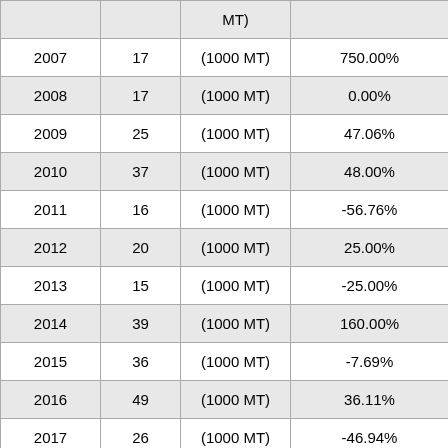| Year | Value | Unit | Change% |
| --- | --- | --- | --- |
|  |  | MT) |  |
| 2007 | 17 | (1000 MT) | 750.00% |
| 2008 | 17 | (1000 MT) | 0.00% |
| 2009 | 25 | (1000 MT) | 47.06% |
| 2010 | 37 | (1000 MT) | 48.00% |
| 2011 | 16 | (1000 MT) | -56.76% |
| 2012 | 20 | (1000 MT) | 25.00% |
| 2013 | 15 | (1000 MT) | -25.00% |
| 2014 | 39 | (1000 MT) | 160.00% |
| 2015 | 36 | (1000 MT) | -7.69% |
| 2016 | 49 | (1000 MT) | 36.11% |
| 2017 | 26 | (1000 MT) | -46.94% |
|  |  |  |  |